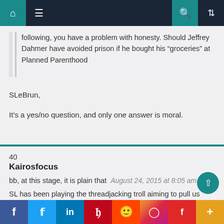Navigation bar with home, menu, search, and shuffle icons
following, you have a problem with honesty. Should Jeffrey Dahmer have avoided prison if he bought his “groceries” at Planned Parenthood
SLeBrun,
It’s a yes/no question, and only one answer is moral.
40
Kairosfocus
bb, at this stage, it is plain that
August 24, 2015 at 8:05 am
SL has been playing the threadjacking troll aiming to pull us away from focus on what to do in the face
Social share bar: Facebook, Twitter, LinkedIn, Pinterest, Reddit, Instagram, Flipboard, More